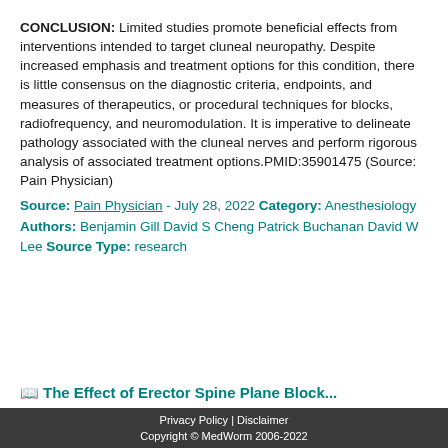CONCLUSION: Limited studies promote beneficial effects from interventions intended to target cluneal neuropathy. Despite increased emphasis and treatment options for this condition, there is little consensus on the diagnostic criteria, endpoints, and measures of therapeutics, or procedural techniques for blocks, radiofrequency, and neuromodulation. It is imperative to delineate pathology associated with the cluneal nerves and perform rigorous analysis of associated treatment options.PMID:35901475 (Source: Pain Physician)
Source: Pain Physician - July 28, 2022 Category: Anesthesiology Authors: Benjamin Gill David S Cheng Patrick Buchanan David W Lee Source Type: research
The Effect of Erector Spinae Plane Block...
Privacy Policy | Disclaimer
Copyright © MedWorm 2006-2022